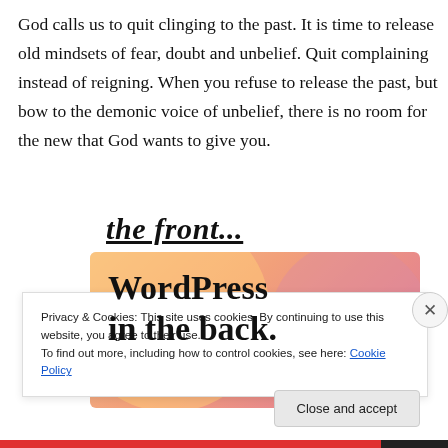God calls us to quit clinging to the past. It is time to release old mindsets of fear, doubt and unbelief. Quit complaining instead of reigning. When you refuse to release the past, but bow to the demonic voice of unbelief, there is no room for the new that God wants to give you.
[Figure (screenshot): Partial advertisement banner showing 'the front...' text above and WordPress logo/branding with text 'WordPress in the back.' on a colorful gradient background with orange, pink and purple circles.]
Privacy & Cookies: This site uses cookies. By continuing to use this website, you agree to their use.
To find out more, including how to control cookies, see here: Cookie Policy
Close and accept